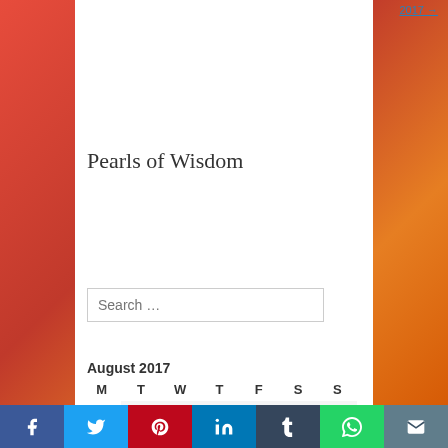2017 →
Pearls of Wisdom
Search …
August 2017
| M | T | W | T | F | S | S |
| --- | --- | --- | --- | --- | --- | --- |
|  | 1 | 2 | 3 | 4 | 5 | 6 |
| 7 | 8 | 9 | 10 | 11 | 12 | 13 |
| 14 | 15 | 16 | 17 | 18 | 19 | 20 |